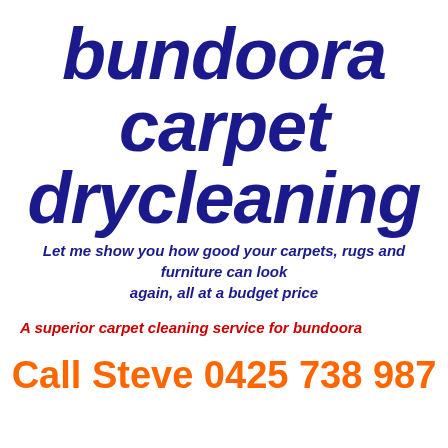bundoora carpet drycleaning
Let me show you how good your carpets, rugs and furniture can look again, all at a budget price
A superior carpet cleaning service for bundoora
Call Steve 0425 738 987